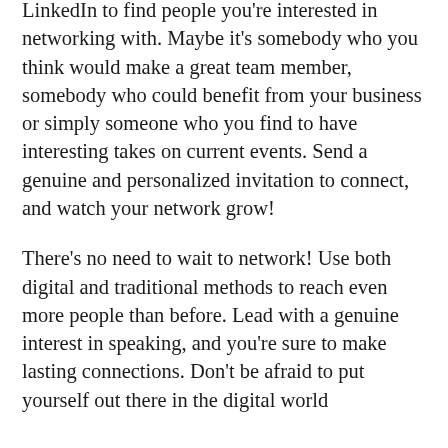LinkedIn to find people you're interested in networking with. Maybe it's somebody who you think would make a great team member, somebody who could benefit from your business or simply someone who you find to have interesting takes on current events. Send a genuine and personalized invitation to connect, and watch your network grow!
There's no need to wait to network! Use both digital and traditional methods to reach even more people than before. Lead with a genuine interest in speaking, and you're sure to make lasting connections. Don't be afraid to put yourself out there in the digital world